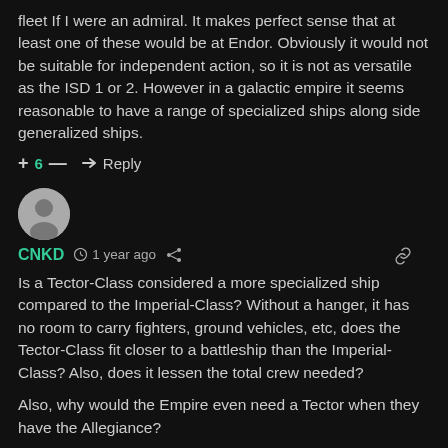fleet If I were an admiral. It makes perfect sense that at least one of these would be at Endor. Obviously it would not be suitable for independent action, so it is not as versatile as the ISD 1 or 2. However in a galactic empire it seems reasonable to have a range of specialized ships along side generalized ships.
+ 6 — → Reply
[Figure (other): User avatar - grey circle with person silhouette]
CNKD  1 year ago  share  link
Is a Tector-Class considered a more specialized ship compared to the Imperial-Class? Without a hanger, it has no room to carry fighters, ground vehicles, etc, does the Tector-Class fit closer to a battleship than the Imperial-Class? Also, does it lessen the total crew needed?
Also, why would the Empire even need a Tector when they have the Allegiance?